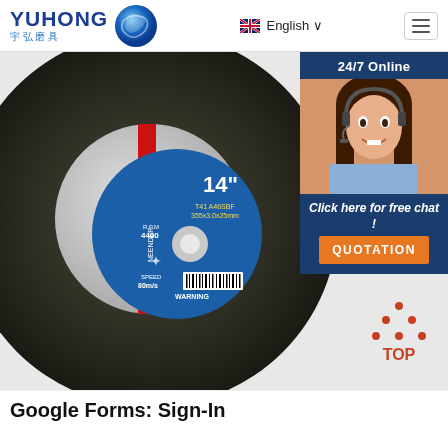[Figure (logo): YUHONG logo with Chinese text 宇弘磨具 and blue wave/globe icon]
[Figure (screenshot): Website screenshot showing a 14-inch cutting/grinding disc with blue and red label center, NEENDER brand, RPM 4400, SPEED 80m/s, 355x3.0x25mm. An overlay chat widget on the right shows '24/7 Online', a female customer service rep photo, 'Click here for free chat!', and an orange QUOTATION button. A red TOP button is at bottom right.]
Google Forms: Sign-In